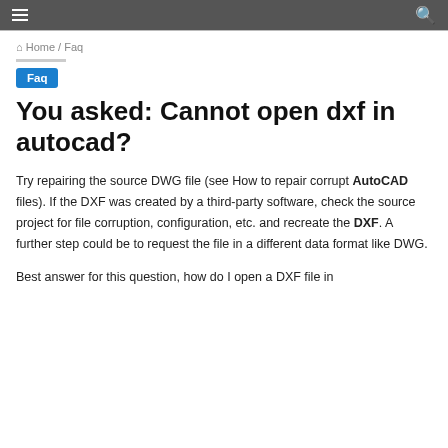≡  🔍
🏠 Home / Faq
Faq
You asked: Cannot open dxf in autocad?
Try repairing the source DWG file (see How to repair corrupt AutoCAD files). If the DXF was created by a third-party software, check the source project for file corruption, configuration, etc. and recreate the DXF. A further step could be to request the file in a different data format like DWG.
Best answer for this question, how do I open a DXF file in